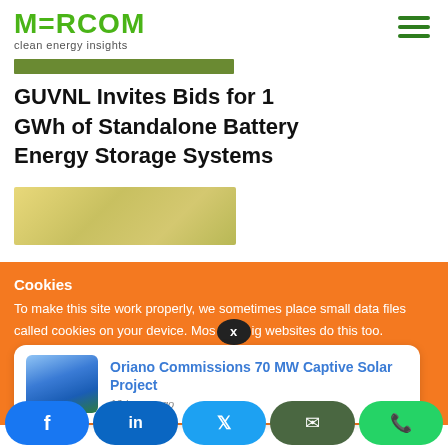MERCOM clean energy insights
GUVNL Invites Bids for 1 GWh of Standalone Battery Energy Storage Systems
[Figure (photo): Article thumbnail image showing a solar/energy related scene with yellow/tan tones]
Cookies
To make this site work properly, we sometimes place small data files called cookies on your device. Most big websites do this too.
Oriano Commissions 70 MW Captive Solar Project
13 hours ago